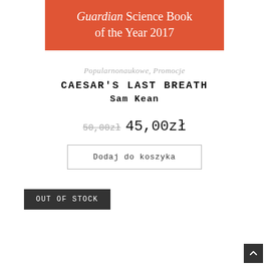[Figure (other): Orange/red banner with text 'Guardian Science Book of the Year 2017']
Popularnonaukowe, Promocje
CAESAR'S LAST BREATH
Sam Kean
50,00zł 45,00zł
Dodaj do koszyka
OUT OF STOCK